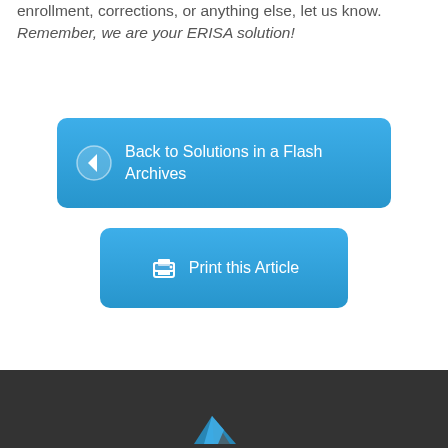enrollment, corrections, or anything else, let us know. Remember, we are your ERISA solution!
[Figure (other): Blue rounded button labeled 'Back to Solutions in a Flash Archives' with a left-arrow circle icon]
[Figure (other): Blue rounded button labeled 'Print this Article' with a printer icon]
Footer bar with logo